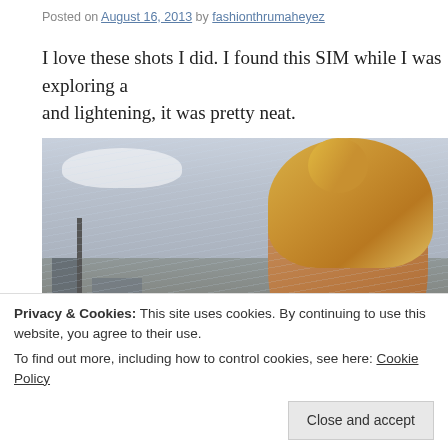Posted on August 16, 2013 by fashionthrumaheyez
I love these shots I did. I found this SIM while I was exploring a and lightening, it was pretty neat.
[Figure (photo): A virtual world (Second Life) screenshot showing a blonde female avatar with a large updo hairstyle, set against a rainy industrial backdrop with buildings and utility poles in the background.]
Privacy & Cookies: This site uses cookies. By continuing to use this website, you agree to their use.
To find out more, including how to control cookies, see here: Cookie Policy
Close and accept